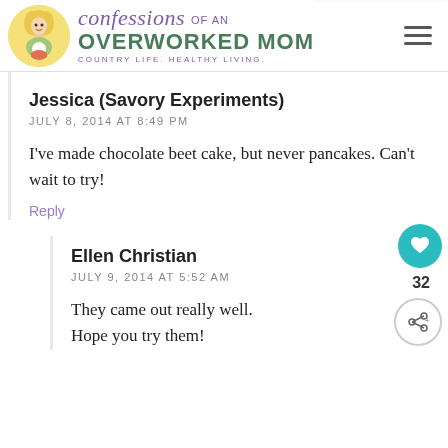[Figure (logo): Confessions of an Overworked Mom blog logo with illustrated woman and site name]
Jessica (Savory Experiments)
JULY 8, 2014 AT 8:49 PM
I've made chocolate beet cake, but never pancakes.  Can't wait to try!
Reply
Ellen Christian
JULY 9, 2014 AT 5:52 AM
They came out really well.  Hope you try them!
[Figure (infographic): Floating heart/share widget with count 32 and What's Next Meatballs without... promo]